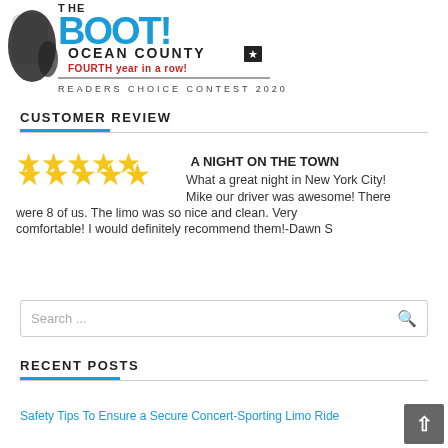[Figure (logo): The Boot! Ocean County Readers Choice Contest 2020 logo with map of USA silhouette, large blue BOOT! text, FOURTH year in a row! in red, star badge]
CUSTOMER REVIEW
A NIGHT ON THE TOWN
★★★★★ What a great night in New York City! Mike our driver was awesome! There were 8 of us. The limo was so nice and clean. Very comfortable! I would definitely recommend them!-Dawn S
Search ...
RECENT POSTS
Safety Tips To Ensure a Secure Concert-Sporting Limo Ride